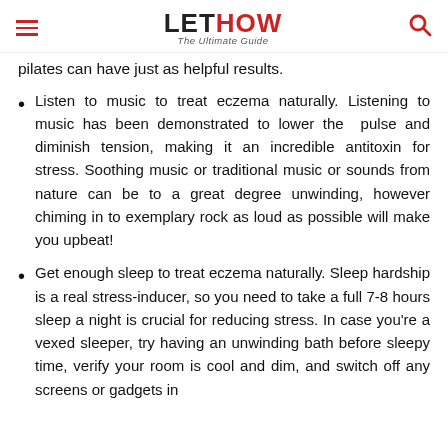LETHOW The Ultimate Guide
pilates can have just as helpful results.
Listen to music to treat eczema naturally. Listening to music has been demonstrated to lower the pulse and diminish tension, making it an incredible antitoxin for stress. Soothing music or traditional music or sounds from nature can be to a great degree unwinding, however chiming in to exemplary rock as loud as possible will make you upbeat!
Get enough sleep to treat eczema naturally. Sleep hardship is a real stress-inducer, so you need to take a full 7-8 hours sleep a night is crucial for reducing stress. In case you're a vexed sleeper, try having an unwinding bath before sleepy time, verify your room is cool and dim, and switch off any screens or gadgets in